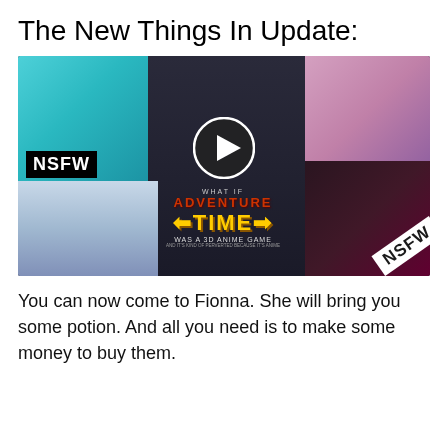The New Things In Update:
[Figure (screenshot): Collage image showing NSFW anime game content with play button overlay. Shows multiple anime character panels including a character named Fionna with bunny ears. Center text reads 'WHAT IF ADVENTURE TIME WAS A 3D ANIME GAME'. NSFW labels visible on panels.]
You can now come to Fionna. She will bring you some potion. And all you need is to make some money to buy them.